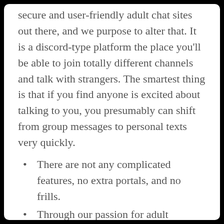secure and user-friendly adult chat sites out there, and we purpose to alter that. It is a discord-type platform the place you'll be able to join totally different channels and talk with strangers. The smartest thing is that if you find anyone is excited about talking to you, you presumably can shift from group messages to personal texts very quickly.
There are not any complicated features, no extra portals, and no frills.
Through our passion for adult chatting, we've added features that support this type of communication.
Paying members can even ship digital